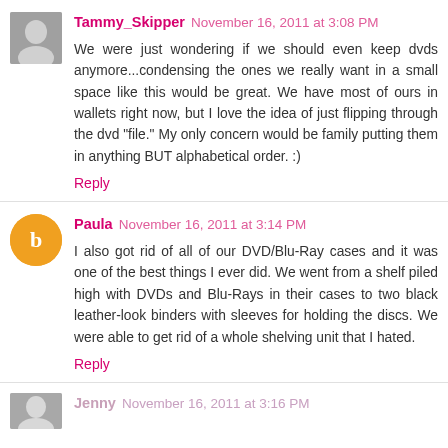Tammy_Skipper November 16, 2011 at 3:08 PM
We were just wondering if we should even keep dvds anymore...condensing the ones we really want in a small space like this would be great. We have most of ours in wallets right now, but I love the idea of just flipping through the dvd "file." My only concern would be family putting them in anything BUT alphabetical order. :)
Reply
Paula November 16, 2011 at 3:14 PM
I also got rid of all of our DVD/Blu-Ray cases and it was one of the best things I ever did. We went from a shelf piled high with DVDs and Blu-Rays in their cases to two black leather-look binders with sleeves for holding the discs. We were able to get rid of a whole shelving unit that I hated.
Reply
Jenny November 16, 2011 at 3:16 PM